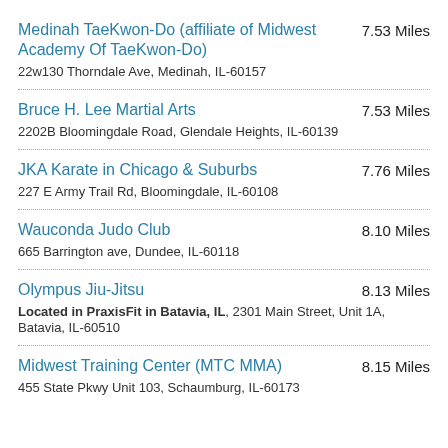Medinah TaeKwon-Do (affiliate of Midwest Academy Of TaeKwon-Do) — 7.53 Miles — 22w130 Thorndale Ave, Medinah, IL-60157
Bruce H. Lee Martial Arts — 7.53 Miles — 2202B Bloomingdale Road, Glendale Heights, IL-60139
JKA Karate in Chicago & Suburbs — 7.76 Miles — 227 E Army Trail Rd, Bloomingdale, IL-60108
Wauconda Judo Club — 8.10 Miles — 665 Barrington ave, Dundee, IL-60118
Olympus Jiu-Jitsu — 8.13 Miles — Located in PraxisFit in Batavia, IL, 2301 Main Street, Unit 1A, Batavia, IL-60510
Midwest Training Center (MTC MMA) — 8.15 Miles — 455 State Pkwy Unit 103, Schaumburg, IL-60173